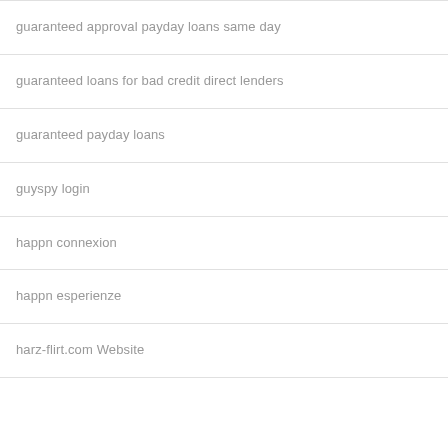guaranteed approval payday loans same day
guaranteed loans for bad credit direct lenders
guaranteed payday loans
guyspy login
happn connexion
happn esperienze
harz-flirt.com Website